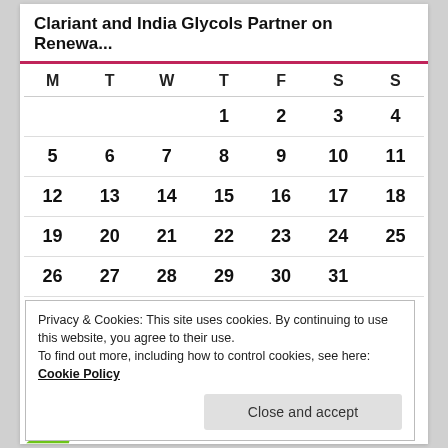Clariant and India Glycols Partner on Renewa...
| M | T | W | T | F | S | S |
| --- | --- | --- | --- | --- | --- | --- |
|  |  |  | 1 | 2 | 3 | 4 |
| 5 | 6 | 7 | 8 | 9 | 10 | 11 |
| 12 | 13 | 14 | 15 | 16 | 17 | 18 |
| 19 | 20 | 21 | 22 | 23 | 24 | 25 |
| 26 | 27 | 28 | 29 | 30 | 31 |  |
Privacy & Cookies: This site uses cookies. By continuing to use this website, you agree to their use.
To find out more, including how to control cookies, see here: Cookie Policy
Close and accept
ANALYSE & MEASURE PLASTIC BIODEGRADATION
[Figure (logo): Green stylized logo text partially visible at bottom]